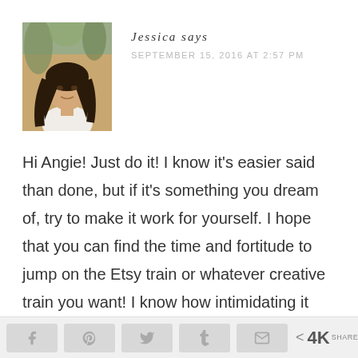[Figure (photo): Profile photo of Jessica, a woman with long dark hair, wearing a white top, outdoors with trees in background]
Jessica says
SEPTEMBER 15, 2016 AT 2:57 PM
Hi Angie! Just do it! I know it's easier said than done, but if it's something you dream of, try to make it work for yourself. I hope that you can find the time and fortitude to jump on the Etsy train or whatever creative train you want! I know how intimidating it can be and it's scary to put yourself out there. I wish the best for
[Figure (infographic): Social share bar with Facebook, Pinterest, Twitter, Tumblr, Email buttons and 4K shares count]